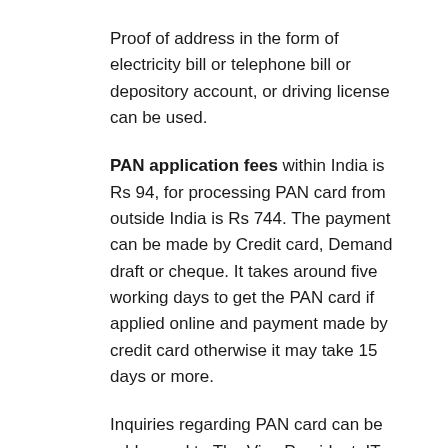Proof of address in the form of electricity bill or telephone bill or depository account, or driving license can be used.
PAN application fees within India is Rs 94, for processing PAN card from outside India is Rs 744. The payment can be made by Credit card, Demand draft or cheque. It takes around five working days to get the PAN card if applied online and payment made by credit card otherwise it may take 15 days or more.
Inquiries regarding PAN card can be addressed to The Vice President, IT PAN Processing center utiisl-gsd@mail.utiisl.co.in OR to The vice President Income tax pan services unit NSLD e-mail-tininfo@nsdl.co.in